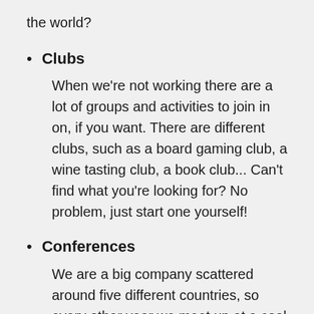the world?
Clubs
When we're not working there are a lot of groups and activities to join in on, if you want. There are different clubs, such as a board gaming club, a wine tasting club, a book club... Can't find what you're looking for? No problem, just start one yourself!
Conferences
We are a big company scattered around five different countries, so every other year we meet up at a cool location and combine pleasure with fun, and a little bit